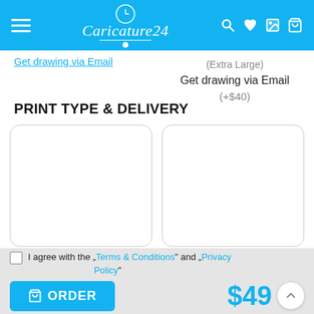Caricature24 — navigation header with menu, logo, search, wishlist, gallery, and cart icons
Get drawing via Email
(Extra Large)
Get drawing via Email
(+$40)
PRINT TYPE & DELIVERY
[Figure (other): Two white rounded-rectangle card placeholders side by side for print type selection options]
I agree with the "Terms & Conditions" and "Privacy Policy"
ORDER  $49